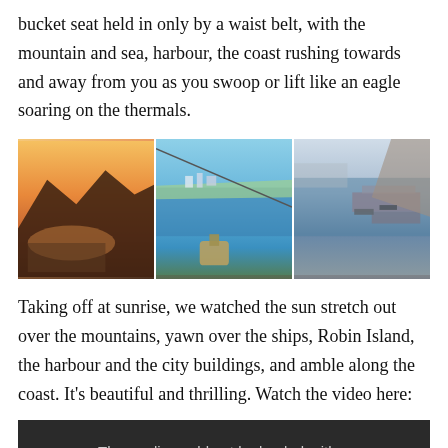bucket seat held in only by a waist belt, with the mountain and sea, harbour, the coast rushing towards and away from you as you swoop or lift like an eagle soaring on the thermals.
[Figure (photo): Three aerial photographs side by side: left shows a sunset view over mountains and a bay with city below; center shows an aerial view of coastline with harbor and buildings with cable car equipment visible at bottom; right shows an aerial view of a port/harbor with ships and docks.]
Taking off at sunrise, we watched the sun stretch out over the mountains, yawn over the ships, Robin Island, the harbour and the city buildings, and amble along the coast. It's beautiful and thrilling. Watch the video here:
[Figure (screenshot): Video placeholder with dark background showing text 'The media could not be loaded, either']